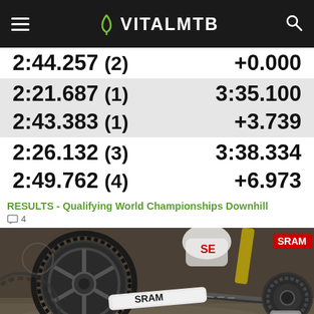VITALMTB
| Split Time | Total / Gap |
| --- | --- |
| 2:44.257 (2) | +0.000 |
| 2:21.687 (1) | 3:35.100 |
| 2:43.383 (1) | +3.739 |
| 2:26.132 (3) | 3:38.334 |
| 2:49.762 (4) | +6.973 |
RESULTS - Qualifying World Championships Downhill
4
[Figure (photo): Close-up photo of a SRAM mountain bike drivetrain showing chainring, chain, cassette, and crankset with SRAM branding visible on the cranks and rear derailleur area]